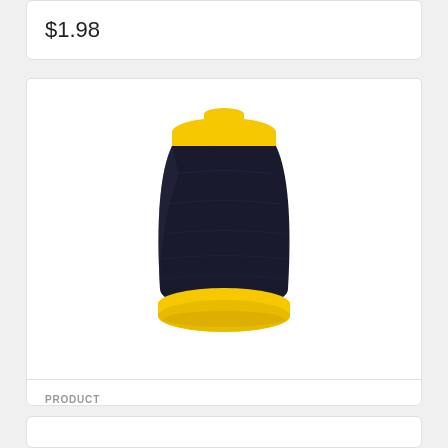$1.98
[Figure (photo): Black thread spool with yellow top and base cap - Amann Strongbond Thread Tex 70 3,827 yds Smoke]
PRODUCT
Amann Strongbond Thread Tex 70 3,827 yds Smoke
$29.25